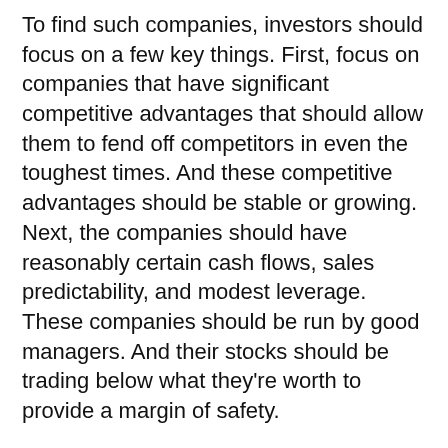To find such companies, investors should focus on a few key things. First, focus on companies that have significant competitive advantages that should allow them to fend off competitors in even the toughest times. And these competitive advantages should be stable or growing. Next, the companies should have reasonably certain cash flows, sales predictability, and modest leverage. These companies should be run by good managers. And their stocks should be trading below what they're worth to provide a margin of safety.
One stock that fits that bill today is Clorox. Like others in its industry, Clorox is facing a surge in costs. Morningstar's analyst thinks Clorox will likely be able to pass along at least some of those additional costs to consumers, thanks to the company's strong brand. We also think Clorox